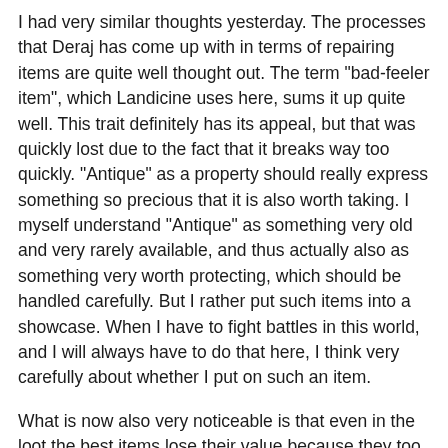I had very similar thoughts yesterday. The processes that Deraj has come up with in terms of repairing items are quite well thought out. The term "bad-feeler item", which Landicine uses here, sums it up quite well. This trait definitely has its appeal, but that was quickly lost due to the fact that it breaks way too quickly. "Antique" as a property should really express something so precious that it is also worth taking. I myself understand "Antique" as something very old and very rarely available, and thus actually also as something very worth protecting, which should be handled carefully. But I rather put such items into a showcase. When I have to fight battles in this world, and I will always have to do that here, I think very carefully about whether I put on such an item.
What is now also very noticeable is that even in the loot the best items lose their value because they too often have this attribute "Antique". These items are sometimes really crass, as far as the other properties on it are concerned. For craftsmen who are not in battles and where the risk is low that it could break, "Antique" is quite OK. But overzealous tailors have no business in war here. I can't kill monsters with sewing needles, I might as well stand there naked.
"Antique" on the items doesn't have to disappear completely. But don't pile that trait on the items like that anymore – even in normal loot. Think of